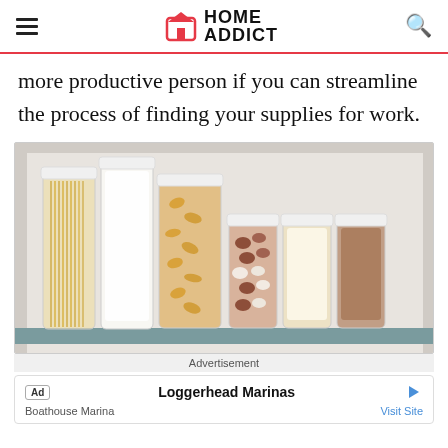HOME ADDICT
more productive person if you can streamline the process of finding your supplies for work.
[Figure (photo): A pantry shelf with six clear airtight containers filled with various dry goods: spaghetti, flour/white powder, cereal/cornflakes, beans, white rice, and red quinoa/grains.]
Advertisement
Ad  Loggerhead Marinas  Boathouse Marina  Visit Site